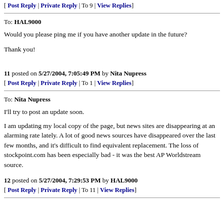[ Post Reply | Private Reply | To 9 | View Replies]
To: HAL9000
Would you please ping me if you have another update in the future?
Thank you!
11 posted on 5/27/2004, 7:05:49 PM by Nita Nupress
[ Post Reply | Private Reply | To 1 | View Replies]
To: Nita Nupress
I'll try to post an update soon.
I am updating my local copy of the page, but news sites are disappearing at an alarming rate lately. A lot of good news sources have disappeared over the last few months, and it's difficult to find equivalent replacement. The loss of stockpoint.com has been especially bad - it was the best AP Worldstream source.
12 posted on 5/27/2004, 7:29:53 PM by HAL9000
[ Post Reply | Private Reply | To 11 | View Replies]